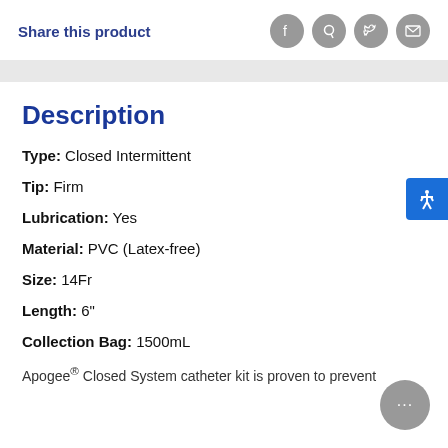Share this product
Description
Type: Closed Intermittent
Tip: Firm
Lubrication: Yes
Material: PVC (Latex-free)
Size: 14Fr
Length: 6"
Collection Bag: 1500mL
Apogee® Closed System catheter kit is proven to prevent